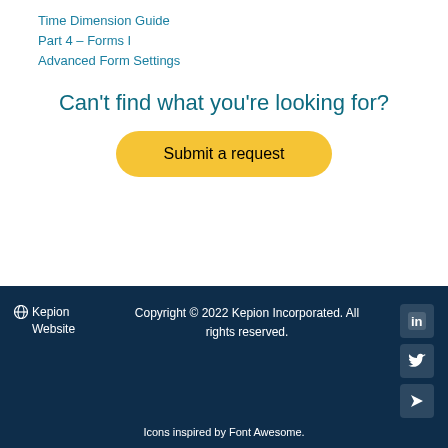Time Dimension Guide
Part 4 – Forms I
Advanced Form Settings
Can't find what you're looking for?
Submit a request
🌐 Kepion Website   Copyright © 2022 Kepion Incorporated. All rights reserved.   Icons inspired by Font Awesome.